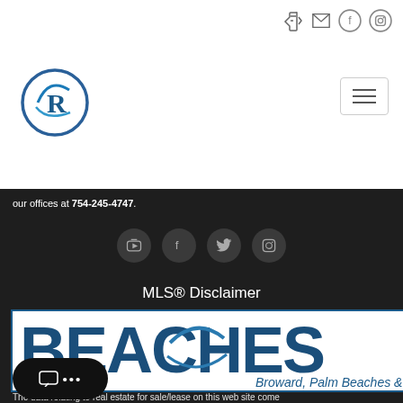[Figure (logo): Circular logo with letter R inside a crescent/wave shape, blue gradient]
our offices at 754-245-4747.
[Figure (infographic): Four social media icon buttons (YouTube, Facebook, Twitter, Instagram) in dark circular buttons]
MLS® Disclaimer
[Figure (logo): Beaches MLS logo with text 'BEACHESM' and subtitle 'Broward, Palm Beaches & St. Lu...' on white background with blue border]
The data relating to real estate for sale/lease on this web site comes ... data exchange program of the multiple listing service (M... this real estate firm (Broker) participates. The data is provided exclus...